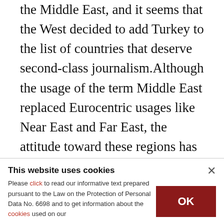the Middle East, and it seems that the West decided to add Turkey to the list of countries that deserve second-class journalism. Although the usage of the term Middle East replaced Eurocentric usages like Near East and Far East, the attitude toward these regions has not altogether changed apart from their branding. It is especially evident that the main problem with coverage of the Middle East is that it suffers from desensitization, and has been for a long time. As the western-most point of
This website uses cookies
Please click to read our informative text prepared pursuant to the Law on the Protection of Personal Data No. 6698 and to get information about the cookies used on our